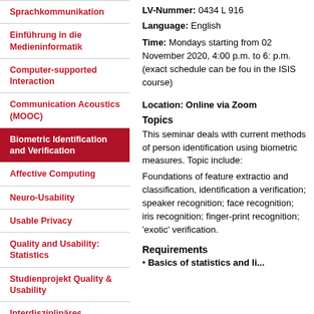Sprachkommunikation
Einführung in die Medieninformatik
Computer-supported Interaction
Communication Acoustics (MOOC)
Biometric Identification and Verification
Affective Computing
Neuro-Usability
Usable Privacy
Quality and Usability: Statistics
Studienprojekt Quality & Usability
Interdisziplinäres Medienprojekt
Prüfungen
LV-Nummer: 0434 L 916
Language: English
Time: Mondays starting from 02 November 2020, 4:00 p.m. to 6: p.m. (exact schedule can be fou in the ISIS course)
Location: Online via Zoom
Topics
This seminar deals with current methods of person identification using biometric measures. Topics include:
Foundations of feature extraction and classification, identification a verification; speaker recognition; face recognition; iris recognition; finger-print recognition; 'exotic' verification.
Requirements
Basics of statistics and li...